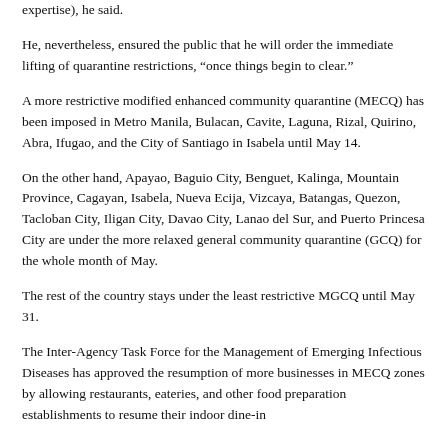expertise), he said.
He, nevertheless, ensured the public that he will order the immediate lifting of quarantine restrictions, “once things begin to clear.”
A more restrictive modified enhanced community quarantine (MECQ) has been imposed in Metro Manila, Bulacan, Cavite, Laguna, Rizal, Quirino, Abra, Ifugao, and the City of Santiago in Isabela until May 14.
On the other hand, Apayao, Baguio City, Benguet, Kalinga, Mountain Province, Cagayan, Isabela, Nueva Ecija, Vizcaya, Batangas, Quezon, Tacloban City, Iligan City, Davao City, Lanao del Sur, and Puerto Princesa City are under the more relaxed general community quarantine (GCQ) for the whole month of May.
The rest of the country stays under the least restrictive MGCQ until May 31.
The Inter-Agency Task Force for the Management of Emerging Infectious Diseases has approved the resumption of more businesses in MECQ zones by allowing restaurants, eateries, and other food preparation establishments to resume their indoor dine-in